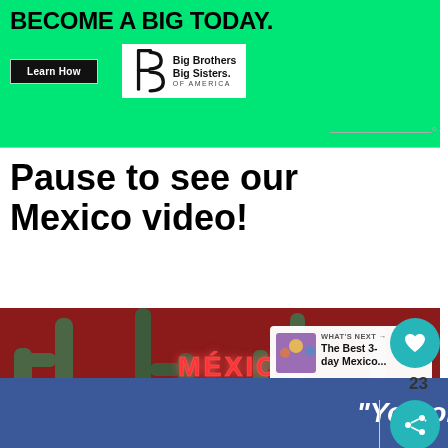[Figure (screenshot): Advertisement banner for Big Brothers Big Sisters of America with green background, 'BECOME A BIG TODAY.' headline, Learn How button, and BBBS logo]
Pause to see our Mexico video!
[Figure (screenshot): Video thumbnail showing Mexico Mi Amor neon sign on red wall with cactus silhouettes, with What's Next overlay showing 'The Best 3-day Mexico...']
[Figure (screenshot): Bottom advertisement banner with blue background showing 'You okay?' text]